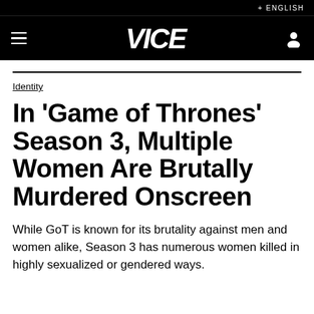+ ENGLISH
[Figure (logo): VICE logo in white italic bold text on black navigation bar with hamburger menu and user icon]
Identity
In 'Game of Thrones' Season 3, Multiple Women Are Brutally Murdered Onscreen
While GoT is known for its brutality against men and women alike, Season 3 has numerous women killed in highly sexualized or gendered ways.